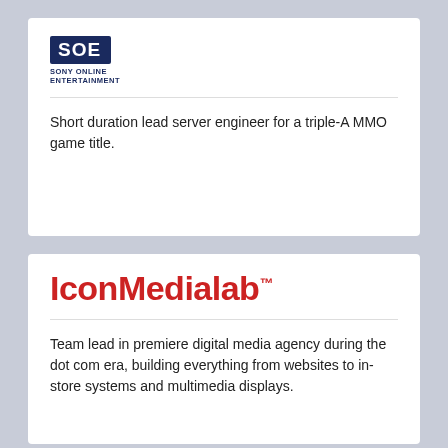[Figure (logo): Sony Online Entertainment (SOE) logo — dark blue badge with SOE letters and 'SONY ONLINE ENTERTAINMENT' text below]
Short duration lead server engineer for a triple-A MMO game title.
IconMedialab™
Team lead in premiere digital media agency during the dot com era, building everything from websites to in-store systems and multimedia displays.